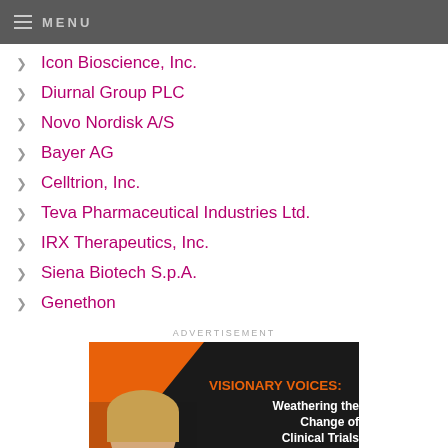MENU
Icon Bioscience, Inc.
Diurnal Group PLC
Novo Nordisk A/S
Bayer AG
Celltrion, Inc.
Teva Pharmaceutical Industries Ltd.
IRX Therapeutics, Inc.
Siena Biotech S.p.A.
Genethon
ADVERTISEMENT
[Figure (photo): Advertisement banner for Visionary Voices: Weathering the Change of Clinical Trials, September 20, 2022. Features a woman with blonde hair on an orange and dark background.]